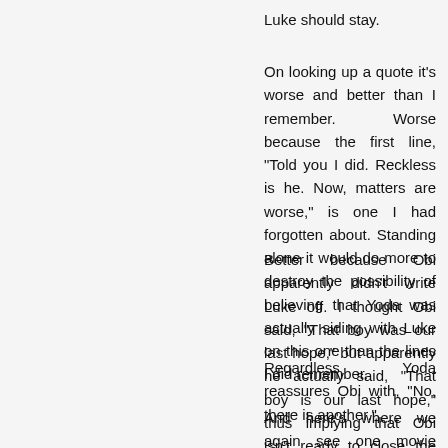Luke should stay.
On looking up a quote it's worse and better than I remember. Worse because the first line, "Told you I did. Reckless is he. Now, matters are worse," is one I had forgotten about. Standing alone it would do more to destroy the possibility of believing that Yoda was actually siding with Luke on this one than the lines I did remember.
Better because Obi apparently didn't write Luke off. I thought Obi said, "That boy was our last hope," but apparently he actually said, "That boy is our last hope," thus implying that Obi isn't ready to close the books on Luke just yet.
Regardless Yoda reassures Obi with, "No, there is another."
And here's where we again see one movie being made without a thought to what came before even in the original trilogy.